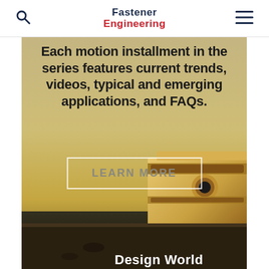Fastener Engineering
[Figure (illustration): Advertisement banner for Design World motion series. Golden/tan textured background with a 3D rendered aluminum extrusion/linear rail component in the lower right. Text overlay reads: 'Each motion installment in the series features current trends, videos, typical and emerging applications, and FAQs.' with a 'LEARN MORE' button and 'Design World' branding at bottom.]
Each motion installment in the series features current trends, videos, typical and emerging applications, and FAQs.